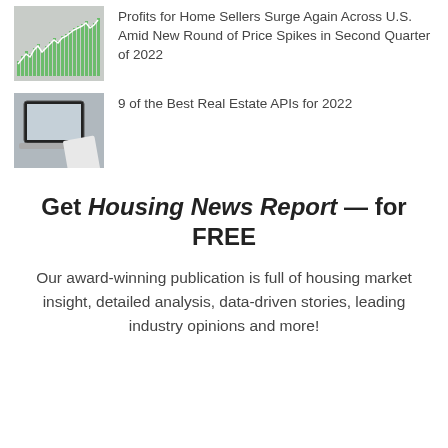[Figure (illustration): Thumbnail showing a bar and line chart with green bars and a white line on a grey background, representing housing market data.]
Profits for Home Sellers Surge Again Across U.S. Amid New Round of Price Spikes in Second Quarter of 2022
[Figure (photo): Thumbnail photo of a laptop computer on a wooden desk with a white paper/notebook beside it.]
9 of the Best Real Estate APIs for 2022
Get Housing News Report — for FREE
Our award-winning publication is full of housing market insight, detailed analysis, data-driven stories, leading industry opinions and more!